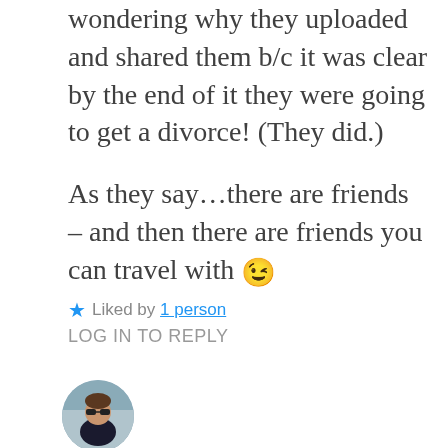wondering why they uploaded and shared them b/c it was clear by the end of it they were going to get a divorce! (They did.)

As they say…there are friends – and then there are friends you can travel with 😉
★ Liked by 1 person
LOG IN TO REPLY
[Figure (photo): Circular avatar photo of a person wearing sunglasses outdoors]